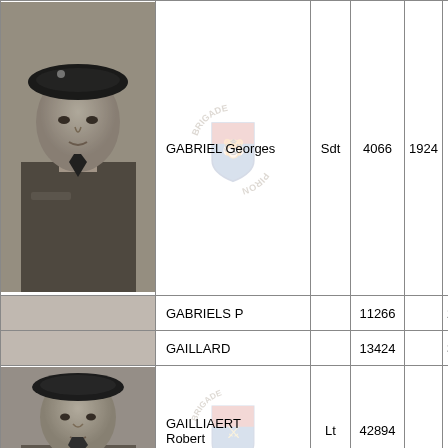| Photo | Name | Rank | Number | Year | Unit |
| --- | --- | --- | --- | --- | --- |
| [photo] | GABRIEL Georges | Sdt | 4066 | 1924 | Eng Coy |
| [no photo] | GABRIELS P |  | 11266 |  | 2 B |
| [no photo] | GAILLARD |  | 13424 |  | 3 B |
| [photo] | GAILLIAERT Robert | Lt | 42894 |  | 3 B Coy Con |